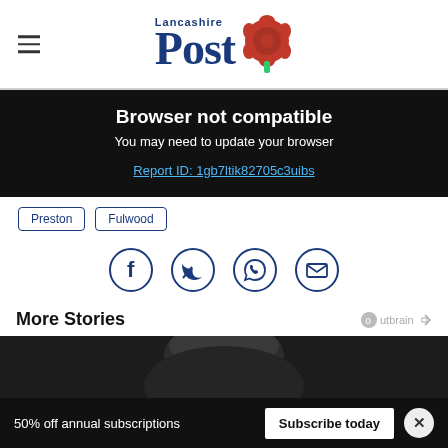Lancashire Post
Browser not compatible
You may need to update your browser
Report ID: 1gb7ltik82705c3uibs
Preston
Fulwood
[Figure (other): Social sharing icons: Facebook, Twitter, WhatsApp, Email]
More Stories
[Figure (photo): Dark photo of person with dark hair]
50% off annual subscriptions
Subscribe today